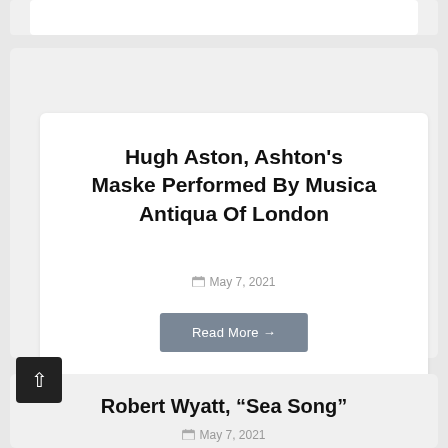Hugh Aston, Ashton's Maske Performed By Musica Antiqua Of London
May 7, 2021
Read More →
Robert Wyatt, “Sea Song”
May 7, 2021